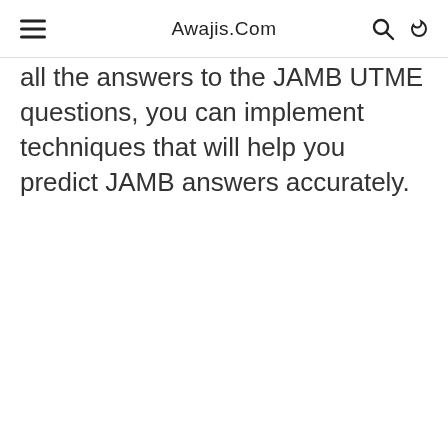Awajis.Com
all the answers to the JAMB UTME questions, you can implement techniques that will help you predict JAMB answers accurately.